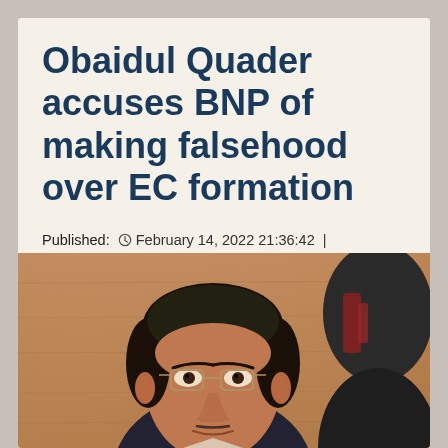Obaidul Quader accuses BNP of making falsehood over EC formation
Published: ⏰ February 14, 2022 21:36:42  |  Updated: ⏰ February 18, 2022 21:20:09
[Figure (photo): Close-up photograph of a middle-aged South Asian man wearing glasses, a dark blazer, in front of a wooden background. Another person in a dark suit is partially visible behind him to the right.]